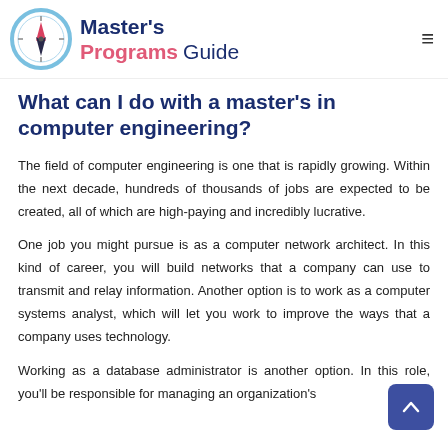Master's Programs Guide
What can I do with a master's in computer engineering?
The field of computer engineering is one that is rapidly growing. Within the next decade, hundreds of thousands of jobs are expected to be created, all of which are high-paying and incredibly lucrative.
One job you might pursue is as a computer network architect. In this kind of career, you will build networks that a company can use to transmit and relay information. Another option is to work as a computer systems analyst, which will let you work to improve the ways that a company uses technology.
Working as a database administrator is another option. In this role, you'll be responsible for managing an organization's